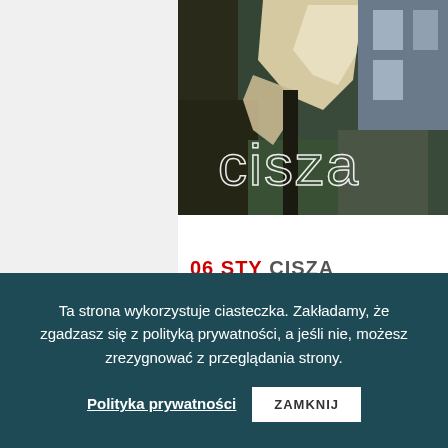[Figure (illustration): Book or album cover with dark background showing peeling paper/poster on a wall. Large white outlined text 'cisza' overlaid in center-bottom area.]
06 STY CISZA
Posted at 00:01h in
Ta strona wykorzystuje ciasteczka. Zakładamy, że zgadzasz się z polityką prywatności, a jeśli nie, możesz zrezygnować z przeglądania strony.
Polityka prywatności   ZAMKNIJ